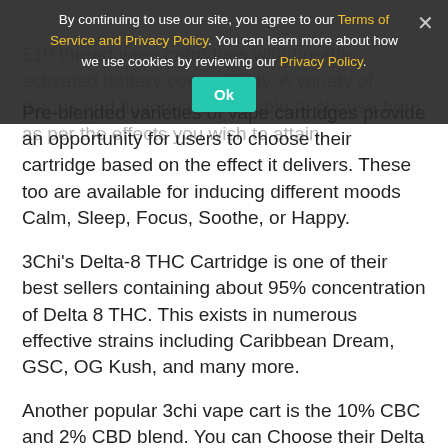[Figure (screenshot): Cookie consent banner overlay with dark semi-transparent background, showing 'By continuing to use our site, you agree to our Terms of Service and Privacy Policy. You can learn more about how we use cookies by reviewing our Privacy Policy.' with an 'Ok' button in teal, and an X close button.]
510 thread vape cartridges with breath-activated battery compatibility. A variety of blends and flavors are available to choose from as per the effects you wish to attain.
Pre-blended varieties of vape cartridges provide an opportunity for users to choose their cartridge based on the effect it delivers. These too are available for inducing different moods Calm, Sleep, Focus, Soothe, or Happy.
3Chi's Delta-8 THC Cartridge is one of their best sellers containing about 95% concentration of Delta 8 THC. This exists in numerous effective strains including Caribbean Dream, GSC, OG Kush, and many more.
Another popular 3chi vape cart is the 10% CBC and 2% CBD blend. You can Choose their Delta 8 THC Cartridges which are of high-quality Hemp extract and are free from any kind of cutting agent.
⇒ Visit the Official Website of 3Chi Vapes  for the Best Deals
3Chi Topicals: 100% Hemp Extract